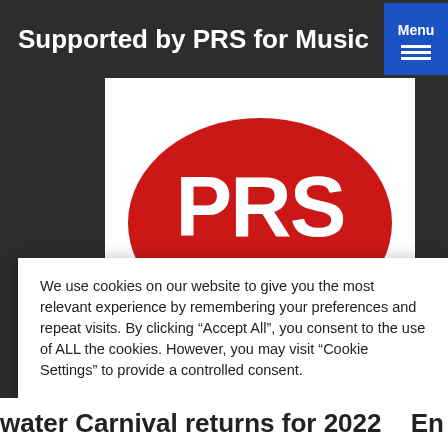Supported by PRS for Music
[Figure (logo): PRS for Music logo — large red oval on white background with white text 'PRS' in bold and 'forMUSIC' below]
We use cookies on our website to give you the most relevant experience by remembering your preferences and repeat visits. By clicking “Accept All”, you consent to the use of ALL the cookies. However, you may visit “Cookie Settings” to provide a controlled consent.
copyright esses and they need
Cookie Settings
Accept All
water Carnival returns for 2022   En